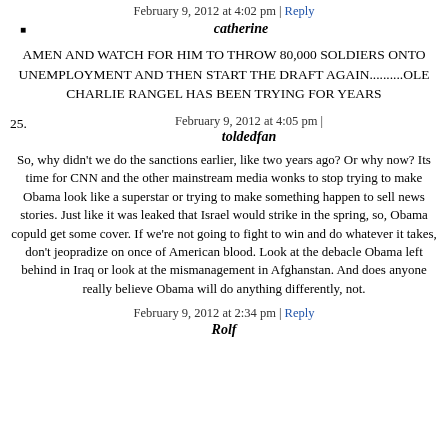February 9, 2012 at 4:02 pm | Reply
catherine
AMEN AND WATCH FOR HIM TO THROW 80,000 SOLDIERS ONTO UNEMPLOYMENT AND THEN START THE DRAFT AGAIN..........OLE CHARLIE RANGEL HAS BEEN TRYING FOR YEARS
February 9, 2012 at 4:05 pm | toldedfan
So, why didn't we do the sanctions earlier, like two years ago? Or why now? Its time for CNN and the other mainstream media wonks to stop trying to make Obama look like a superstar or trying to make something happen to sell news stories. Just like it was leaked that Israel would strike in the spring, so, Obama copuld get some cover. If we're not going to fight to win and do whatever it takes, don't jeopradize on once of American blood. Look at the debacle Obama left behind in Iraq or look at the mismanagement in Afghanstan. And does anyone really believe Obama will do anything differently, not.
February 9, 2012 at 2:34 pm | Reply